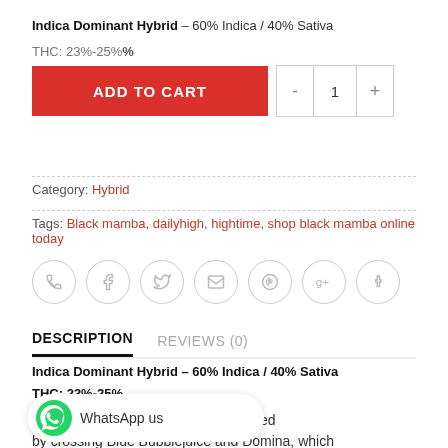Indica Dominant Hybrid – 60% Indica / 40% Sativa
THC: 23%-25%
ADD TO CART  -  1  +
Category: Hybrid
Tags: Black mamba, dailyhigh, hightime, shop black mamba online today
[Figure (infographic): Social share icons: phone, facebook, twitter, email, pinterest, google+, tumblr]
DESCRIPTION
REVIEWS (0)
Indica Dominant Hybrid – 60% Indica / 40% Sativa
THC: 23%-25%
…ant strain, Black Mamba was created by crossing Blue Bubblejuice and Domina, which
[Figure (other): WhatsApp us button with green WhatsApp logo icon]